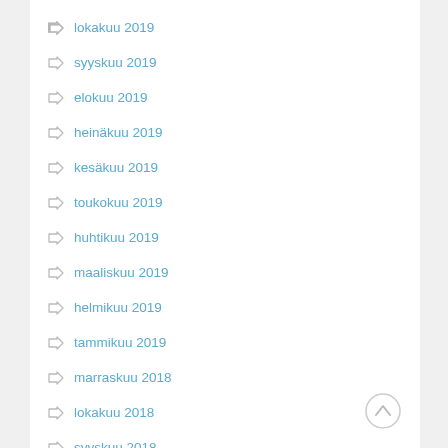lokakuu 2019
syyskuu 2019
elokuu 2019
heinäkuu 2019
kesäkuu 2019
toukokuu 2019
huhtikuu 2019
maaliskuu 2019
helmikuu 2019
tammikuu 2019
marraskuu 2018
lokakuu 2018
syyskuu 2018
elokuu 2018
heinäkuu 2018